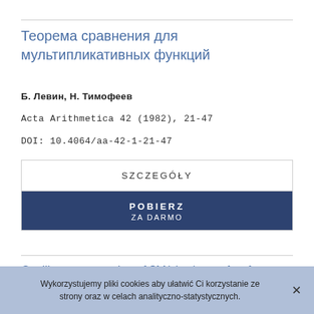Теорема сравнения для мультипликативных функций
Б. Левин, Н. Тимофеев
Acta Arithmetica 42 (1982), 21-47
DOI: 10.4064/aa-42-1-21-47
[Figure (other): Two buttons: SZCZEGÓŁY (details) and POBIERZ ZA DARMO (download for free)]
Oscillatory properties of $M(x) = \sum_{n≤x} μ(n)$, I
Wykorzystujemy pliki cookies aby ułatwić Ci korzystanie ze strony oraz w celach analityczno-statystycznych.